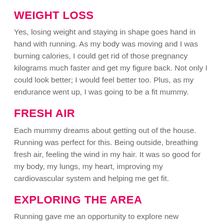WEIGHT LOSS
Yes, losing weight and staying in shape goes hand in hand with running. As my body was moving and I was burning calories, I could get rid of those pregnancy kilograms much faster and get my figure back. Not only I could look better; I would feel better too. Plus, as my endurance went up, I was going to be a fit mummy.
FRESH AIR
Each mummy dreams about getting out of the house. Running was perfect for this. Being outside, breathing fresh air, feeling the wind in my hair. It was so good for my body, my lungs, my heart, improving my cardiovascular system and helping me get fit.
EXPLORING THE AREA
Running gave me an opportunity to explore new